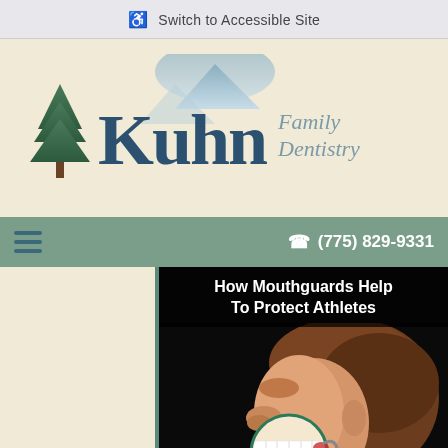♿ Switch to Accessible Site
[Figure (logo): Kuhn Family Dentistry logo with pine tree and mountain silhouette]
☎ (775) 829-9331
How Mouthguards Help To Protect Athletes
[Figure (illustration): 3D illustration of a person's face in profile showing a mouthguard being inserted into the mouth with teal arrows indicating direction]